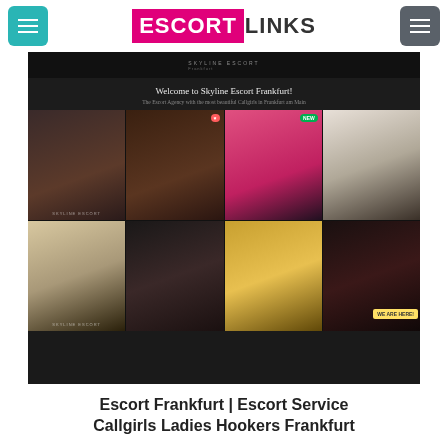[Figure (logo): EscortLinks logo with teal left menu button and gray right menu button]
[Figure (screenshot): Screenshot of Skyline Escort Frankfurt website showing a grid of 8 model photos, welcome text, and site header]
Escort Frankfurt | Escort Service Callgirls Ladies Hookers Frankfurt